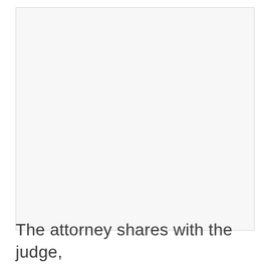[Figure (other): Large blank/white rectangular image area occupying most of the upper portion of the page]
The attorney shares with the judge,